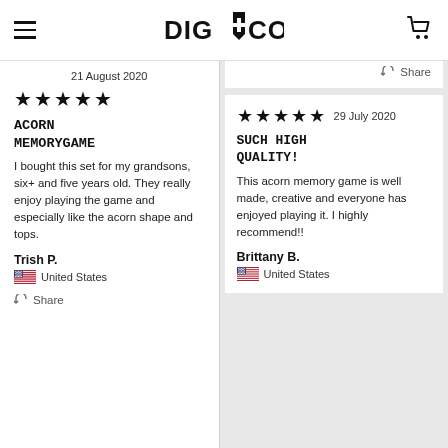[Figure (logo): DIG+CO. logo with shovel/shield icon]
21 August 2020
★★★★★
ACORN MEMORYGAME
I bought this set for my grandsons, six+ and five years old. They really enjoy playing the game and especially like the acorn shape and tops.
Trish P.
United States
Share
Share
★★★★★  29 July 2020
SUCH HIGH QUALITY!
This acorn memory game is well made, creative and everyone has enjoyed playing it. I highly recommend!!
Brittany B.
United States